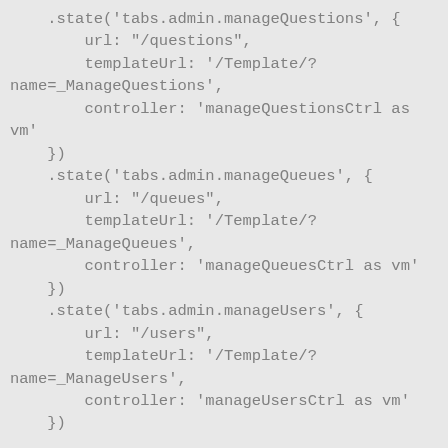.state('tabs.admin.manageQuestions', {
        url: "/questions",
        templateUrl: '/Template/?name=_ManageQuestions',
        controller: 'manageQuestionsCtrl as vm'
    })
    .state('tabs.admin.manageQueues', {
        url: "/queues",
        templateUrl: '/Template/?name=_ManageQueues',
        controller: 'manageQueuesCtrl as vm'
    })
    .state('tabs.admin.manageUsers', {
        url: "/users",
        templateUrl: '/Template/?name=_ManageUsers',
        controller: 'manageUsersCtrl as vm'
    })